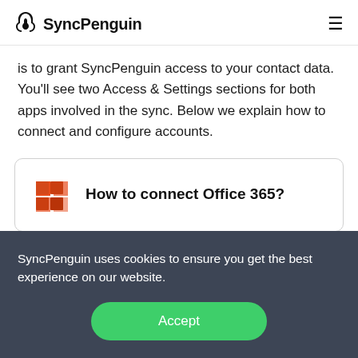SyncPenguin
is to grant SyncPenguin access to your contact data. You'll see two Access & Settings sections for both apps involved in the sync. Below we explain how to connect and configure accounts.
How to connect Office 365?
SyncPenguin uses cookies to ensure you get the best experience on our website.
Accept